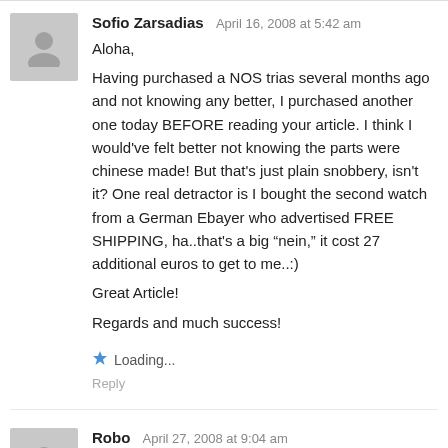Sofio Zarsadias   April 16, 2008 at 5:42 am
Aloha,

Having purchased a NOS trias several months ago and not knowing any better, I purchased another one today BEFORE reading your article. I think I would've felt better not knowing the parts were chinese made! But that's just plain snobbery, isn't it? One real detractor is I bought the second watch from a German Ebayer who advertised FREE SHIPPING, ha..that's a big “nein,” it cost 27 additional euros to get to me..:)

Great Article!

Regards and much success!
Loading...
Reply
Robo   April 27, 2008 at 9:04 am
Hey guys trias watches are supreme for the price. Maybe